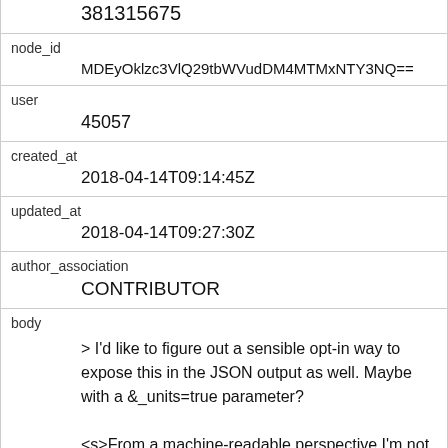|  | 381315675 |
| node_id | MDEyOklzc3VlQ29tbWVudDM4MTMxNTY3NQ== |
| user | 45057 |
| created_at | 2018-04-14T09:14:45Z |
| updated_at | 2018-04-14T09:27:30Z |
| author_association | CONTRIBUTOR |
| body | > I'd like to figure out a sensible opt-in way to expose this in the JSON output as well. Maybe with a &_units=true parameter?

<s>From a machine-readable perspective I'm not sure why it would be useful to decorate the values with units</s>. Edit: Should have had some coffee first. It's clearly useful for stuff like map rendering! |